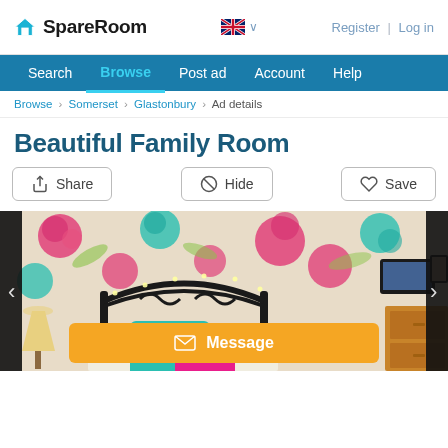SpareRoom | Register | Log in
Search  Browse  Post ad  Account  Help
Browse › Somerset › Glastonbury › Ad details
Beautiful Family Room
Share  Hide  Save
[Figure (photo): Bedroom with floral wallpaper featuring pink and turquoise flowers, a black metal bed frame decorated with fairy lights, colorful cushions in turquoise and pink, bedside lamps, a wooden dresser, and a TV on the wall.]
Message